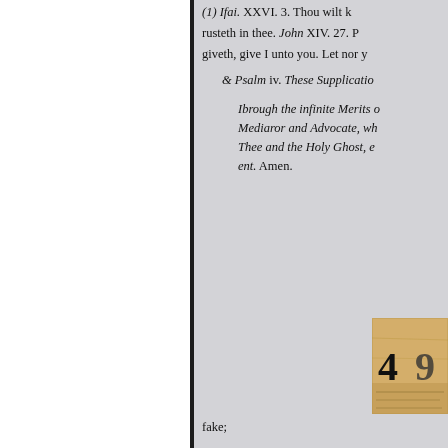(1) Ifai. XXVI. 3. Thou wilt k... trusteth in thee. John XIV. 27. P... giveth, give I unto you. Let nor y...
& Psalm iv. These Supplicatio...
Ibrough the infinite Merits o... Mediaror and Advocate, wh... Thee and the Holy Ghost, e... ent. Amen.
[Figure (other): A torn paper fragment showing a page number, partially obscured, with aged/yellowed paper texture.]
fake;
TE LORD, * rebuke
(a) Heb. XII. 6. For whom the... SCOURGETH every Son whom... receiveth. Rev. 111. 19. As many... Have Mer- be zealous therefore,